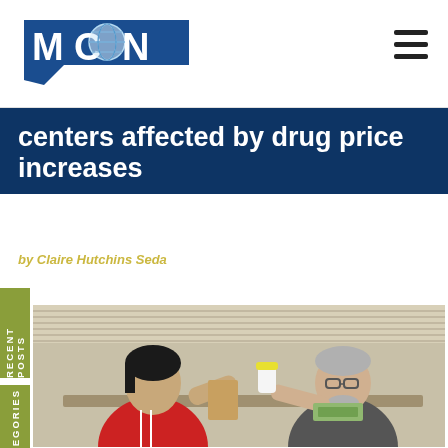MCN
centers affected by drug price increases
by Claire Hutchins Seda
RECENT POSTS
CATEGORIES
[Figure (photo): Two men sitting at a table, one in a red shirt and one in a dark shirt wearing glasses, appearing to exchange a medication bottle and money]